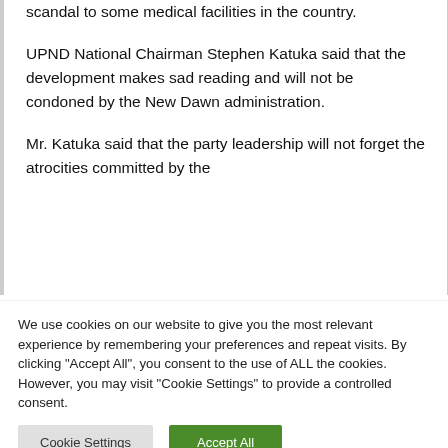scandal to some medical facilities in the country.
UPND National Chairman Stephen Katuka said that the development makes sad reading and will not be condoned by the New Dawn administration.
Mr. Katuka said that the party leadership will not forget the atrocities committed by the
We use cookies on our website to give you the most relevant experience by remembering your preferences and repeat visits. By clicking "Accept All", you consent to the use of ALL the cookies. However, you may visit "Cookie Settings" to provide a controlled consent.